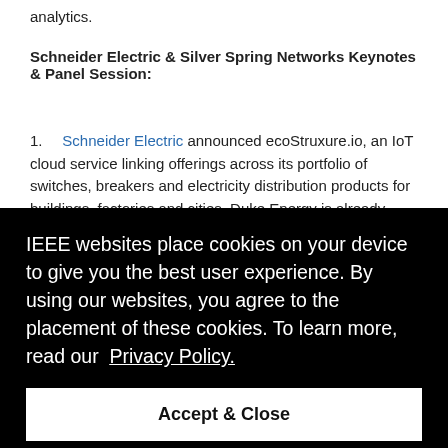analytics.
Schneider Electric & Silver Spring Networks Keynotes & Panel Session:
1. Schneider Electric announced ecoStruxure.io, an IoT cloud service linking offerings across its portfolio of switches, breakers and electricity distribution products for buildings, factories and cities. Duke Energy is already showing cost savings by using Schneider's IoT platform, which includes technology from ARM, ...rvice. ...Prith ...al ...f rolling ...ider, ...huge
[Figure (screenshot): Cookie consent modal overlay with black background. Text reads: 'IEEE websites place cookies on your device to give you the best user experience. By using our websites, you agree to the placement of these cookies. To learn more, read our Privacy Policy.' Below is a white 'Accept & Close' button.]
2.  In a keynote speech on Tuesday,  Mike Bell chief executive of